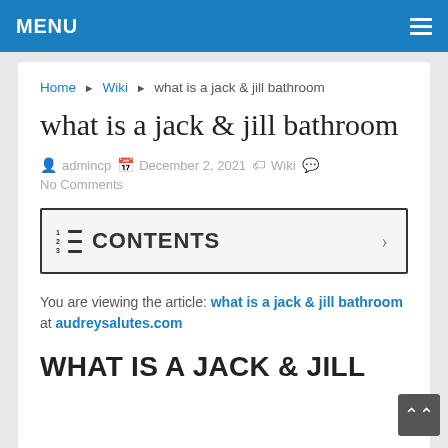MENU
Home ▶ Wiki ▶ what is a jack & jill bathroom
what is a jack & jill bathroom
admincp   December 2, 2021   Wiki   No Comments
CONTENTS
You are viewing the article: what is a jack & jill bathroom at audreysalutes.com
WHAT IS A JACK & JILL